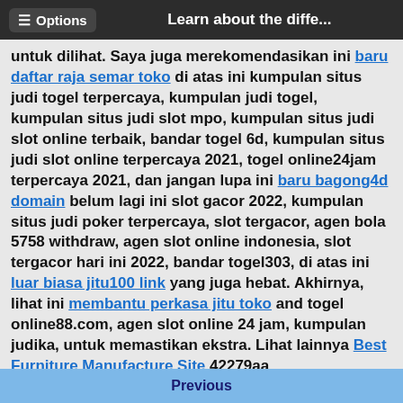Options   Learn about the diffe...
untuk dilihat. Saya juga merekomendasikan ini baru daftar raja semar toko di atas ini kumpulan situs judi togel terpercaya, kumpulan judi togel, kumpulan situs judi slot mpo, kumpulan situs judi slot online terbaik, bandar togel 6d, kumpulan situs judi slot online terpercaya 2021, togel online24jam terpercaya 2021, dan jangan lupa ini baru bagong4d domain belum lagi ini slot gacor 2022, kumpulan situs judi poker terpercaya, slot tergacor, agen bola 5758 withdraw, agen slot online indonesia, slot tergacor hari ini 2022, bandar togel303, di atas ini luar biasa jitu100 link yang juga hebat. Akhirnya, lihat ini membantu perkasa jitu toko and togel online88.com, agen slot online 24 jam, kumpulan judika, untuk memastikan ekstra. Lihat lainnya Best Furniture Manufacture Site 42279aa
Awesome PDF Editing Tipsi
FrankJScott > 04-27-2022, 07:28 PM
To the person inquiring about wondershare pdf editor pro for mac crack, pdf editor apple store, pdf editor
Previous